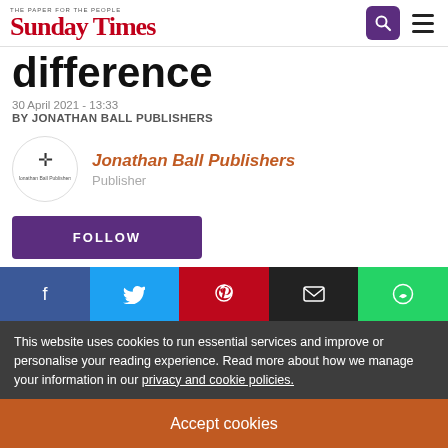THE PAPER FOR THE PEOPLE Sunday Times
difference
30 April 2021 - 13:33
BY JONATHAN BALL PUBLISHERS
Jonathan Ball Publishers Publisher
FOLLOW
This website uses cookies to run essential services and improve or personalise your reading experience. Read more about how we manage your information in our privacy and cookie policies.
Accept cookies